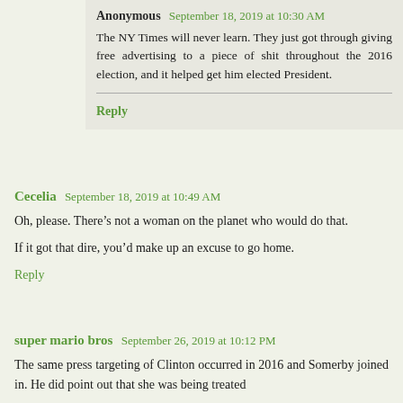Anonymous  September 18, 2019 at 10:30 AM
The NY Times will never learn. They just got through giving free advertising to a piece of shit throughout the 2016 election, and it helped get him elected President.
Reply
Cecelia  September 18, 2019 at 10:49 AM
Oh, please. There’s not a woman on the planet who would do that.
If it got that dire, you’d make up an excuse to go home.
Reply
super mario bros  September 26, 2019 at 10:12 PM
The same press targeting of Clinton occurred in 2016 and Somerby joined in. He did point out that she was being treated